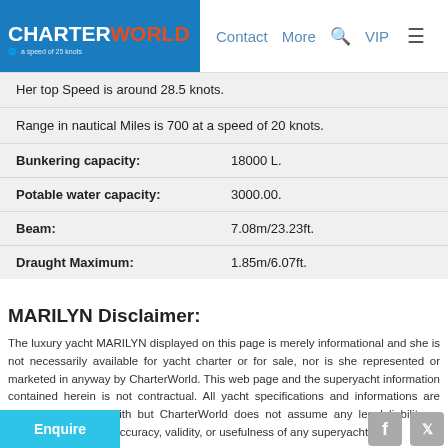CHARTERWORLD | Contact | More | VIP
| Her top Speed is around 28.5 knots. |  |
| Range in nautical Miles is 700 at a speed of 20 knots. |  |
| Bunkering capacity: | 18000 L. |
| Potable water capacity: | 3000.00. |
| Beam: | 7.08m/23.23ft. |
| Draught Maximum: | 1.85m/6.07ft. |
MARILYN Disclaimer:
The luxury yacht MARILYN displayed on this page is merely informational and she is not necessarily available for yacht charter or for sale, nor is she represented or marketed in anyway by CharterWorld. This web page and the superyacht information contained herein is not contractual. All yacht specifications and informations are displayed in good faith but CharterWorld does not assume any legal liability or responsibility for the accuracy, validity, or usefulness of any superyacht